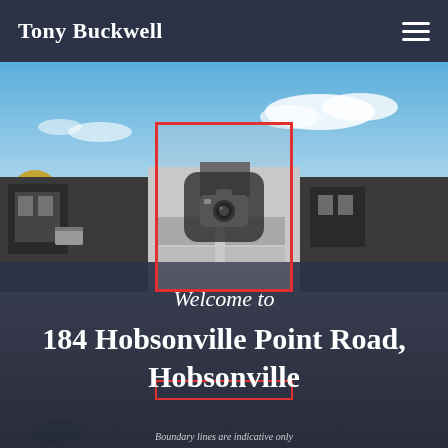Tony Buckwell
[Figure (photo): Exterior photograph of modern townhouses at 184 Hobsonville Point Road, Hobsonville, with dark grey cladding and sky background. A red-bordered rectangle highlights the center unit with a camera icon overlay. A second red rectangle appears at the bottom. Text overlay reads 'Welcome to 184 Hobsonville Point Road, Hobsonville'. Footnote: 'Boundary lines are indicative only'.]